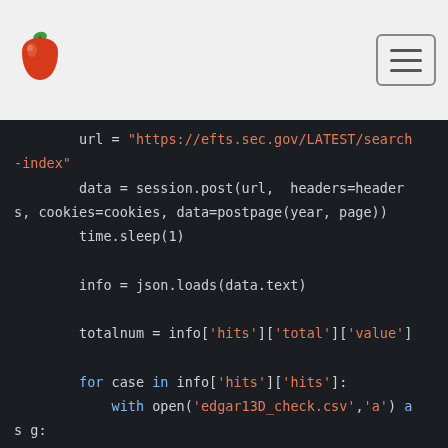[Figure (logo): Red apple logo in top-left corner of page header]
[Figure (other): Hamburger menu icon button in top-right corner]
url = "https://efts.sec.gov/LATEST/search-index"
        data = session.post(url,  headers=headers, cookies=cookies, data=postpage(year, page))
        time.sleep(1)

        info = json.loads(data.text)

        totalnum = info['hits']['total']['value']

        for case in info['hits']['hits']:
            with open('edgar13D_check.csv','a') as g:
                h = csv.writer(g)

                id = case['_id']
                try:
                    cik0 = case[' source']['cik